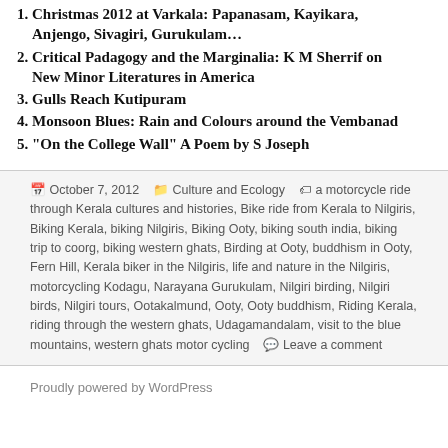1. Christmas 2012 at Varkala: Papanasam, Kayikara, Anjengo, Sivagiri, Gurukulam…
2. Critical Padagogy and the Marginalia: K M Sherrif on New Minor Literatures in America
3. Gulls Reach Kutipuram
4. Monsoon Blues: Rain and Colours around the Vembanad
5. "On the College Wall" A Poem by S Joseph
October 7, 2012   Culture and Ecology   a motorcycle ride through Kerala cultures and histories, Bike ride from Kerala to Nilgiris, Biking Kerala, biking Nilgiris, Biking Ooty, biking south india, biking trip to coorg, biking western ghats, Birding at Ooty, buddhism in Ooty, Fern Hill, Kerala biker in the Nilgiris, life and nature in the Nilgiris, motorcycling Kodagu, Narayana Gurukulam, Nilgiri birding, Nilgiri birds, Nilgiri tours, Ootakalmund, Ooty, Ooty buddhism, Riding Kerala, riding through the western ghats, Udagamandalam, visit to the blue mountains, western ghats motor cycling   Leave a comment
Proudly powered by WordPress